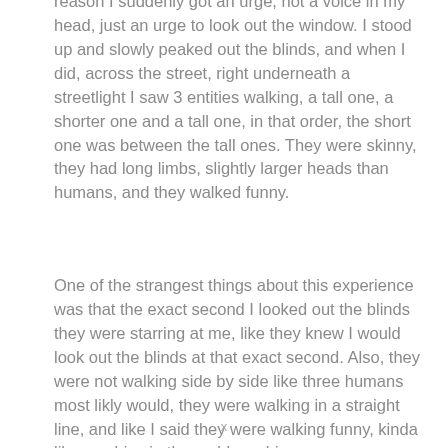reason I suddenly got an urge, not a voice in my head, just an urge to look out the window. I stood up and slowly peaked out the blinds, and when I did, across the street, right underneath a streetlight I saw 3 entities walking, a tall one, a shorter one and a tall one, in that order, the short one was between the tall ones. They were skinny, they had long limbs, slightly larger heads than humans, and they walked funny.
One of the strangest things about this experience was that the exact second I looked out the blinds they were starring at me, like they knew I would look out the blinds at that exact second. Also, they were not walking side by side like three humans most likly would, they were walking in a straight line, and like I said they were walking funny, kinda like zombies in them old zombie
x